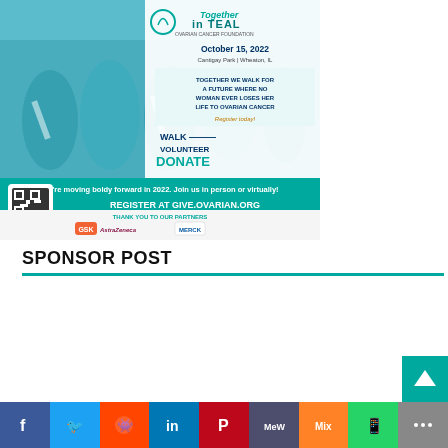[Figure (infographic): Together in Teal ovarian cancer awareness walk event advertisement for October 15, 2022 at Cantigay Park, Wheaton, IL. Features people in teal shirts, event details, WALK VOLUNTEER DONATE call to action, QR code, and partner logos (GSK, AstraZeneca, Merck).]
SPONSOR POST
[Figure (infographic): Social media share bar with Facebook, Twitter, Reddit, LinkedIn, Pinterest, MeWe, Mix, WhatsApp, and More buttons]